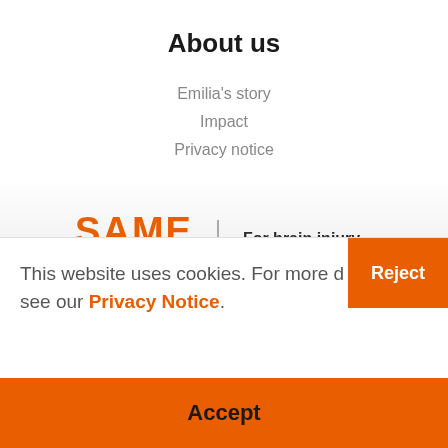About us
Emilia's story
Impact
Privacy notice
[Figure (logo): Same You logo — SAME YOU in orange/amber stacked text with a vertical divider and tagline 'For brain injury recovery']
This website uses cookies. For more details see our Privacy Notice.
Reject
Accept